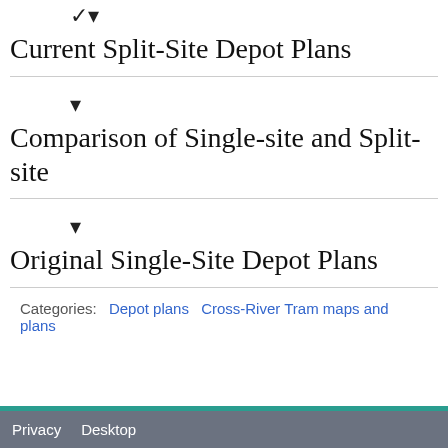Current Split-Site Depot Plans
Comparison of Single-site and Split-site
Original Single-Site Depot Plans
Categories: Depot plans   Cross-River Tram maps and plans
Privacy   Desktop